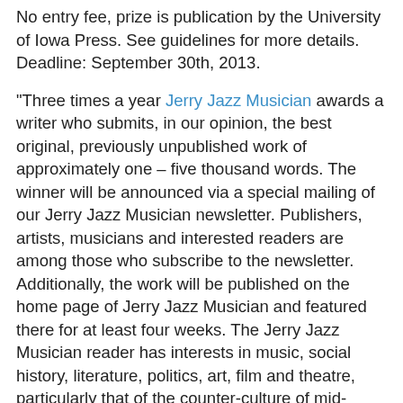No entry fee, prize is publication by the University of Iowa Press. See guidelines for more details. Deadline: September 30th, 2013.
"Three times a year Jerry Jazz Musician awards a writer who submits, in our opinion, the best original, previously unpublished work of approximately one – five thousand words. The winner will be announced via a special mailing of our Jerry Jazz Musician newsletter. Publishers, artists, musicians and interested readers are among those who subscribe to the newsletter. Additionally, the work will be published on the home page of Jerry Jazz Musician and featured there for at least four weeks. The Jerry Jazz Musician reader has interests in music, social history, literature, politics, art, film and theatre, particularly that of the counter-culture of mid-twentieth century America. Your writing should appeal to a reader with these characteristics. A prize of $100 will be awarded for the winning story. In addition to the story being published on Jerry Jazz Musician, the author's acceptance of the prize money gives Jerry Jazz Musician the right to include the story in an anthology that could appear in book or magazine form. No entry fee is